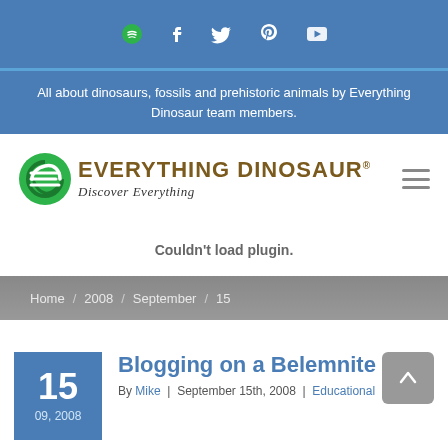Social icons bar: Spotify, Facebook, Twitter, Pinterest, YouTube
All about dinosaurs, fossils and prehistoric animals by Everything Dinosaur team members.
[Figure (logo): Everything Dinosaur logo with green circular E icon and brown text 'EVERYTHING DINOSAUR' with tagline 'Discover Everything']
Couldn't load plugin.
Home / 2008 / September / 15
Blogging on a Belemnite
By Mike | September 15th, 2008 | Educational